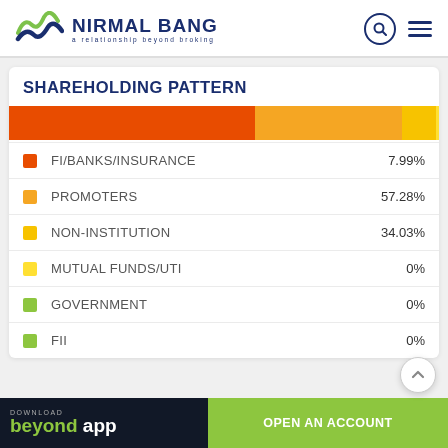[Figure (logo): Nirmal Bang logo with wave/checkmark icon and tagline 'a relationship beyond broking']
SHAREHOLDING PATTERN
[Figure (stacked-bar-chart): Shareholding Pattern]
FI/BANKS/INSURANCE   7.99%
PROMOTERS   57.28%
NON-INSTITUTION   34.03%
MUTUAL FUNDS/UTI   0%
GOVERNMENT   0%
FII   0%